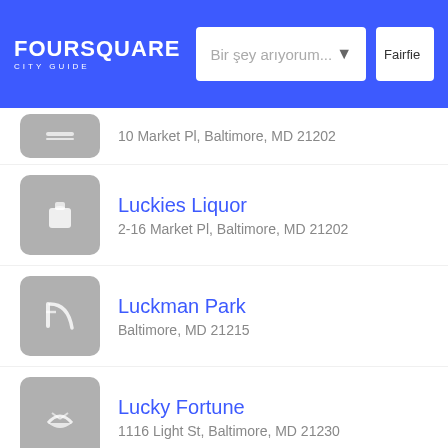Foursquare City Guide — Bir şey arıyorum... — Fairfield
10 Market Pl, Baltimore, MD 21202
Luckies Liquor — 2-16 Market Pl, Baltimore, MD 21202
Luckman Park — Baltimore, MD 21215
Lucky Fortune — 1116 Light St, Baltimore, MD 21230
Lucky Nails — 889 E Fort Ave, Baltimore, MD 21230
Lucky's Coffee, Ice Cream, and — 601 E Pratt St (at Market Place), Baltimore, MD 21